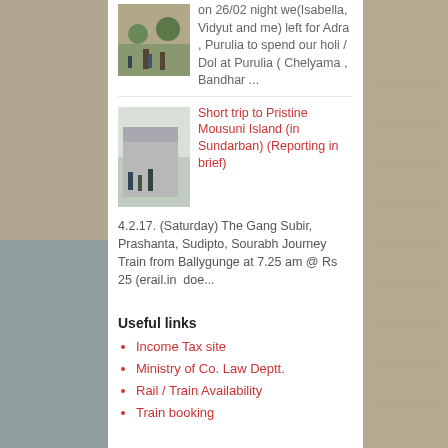[Figure (photo): Thumbnail image of outdoor scene with trees and people]
on 26/02 night we(Isabella, Vidyut and me) left for Adra , Purulia to spend our holi / Dol at Purulia ( Chelyama , Bandhar ...
[Figure (photo): Thumbnail image of people near a building or structure]
Short trip to Pristine Mousuni Island (in Sundarban) (Reporting in brief)
4.2.17. (Saturday) The Gang Subir, Prashanta, Sudipto, Sourabh Journey Train from Ballygunge at 7.25 am @ Rs 25 (erail.in  doe...
Useful links
Income Tax site
Ministry of Co. Law Deptt.
Rail / Train Availability
Train booking